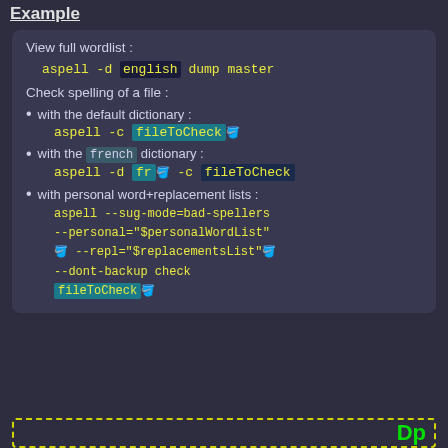Example
View full wordlist :
aspell -d english dump master
Check spelling of a file :
with the default dictionary : aspell -c fileToCheck
with the french dictionary : aspell -d fr -c fileToCheck
with personal word+replacement lists : aspell --sug-mode=bad-spellers --personal="$personalWordList" --repl="$replacementsList" --dont-backup check fileToCheck